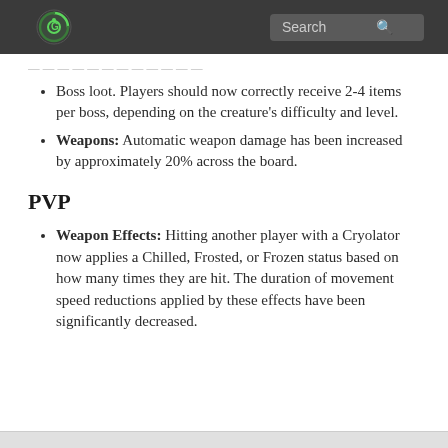Search
Boss loot. Players should now correctly receive 2-4 items per boss, depending on the creature's difficulty and level.
Weapons: Automatic weapon damage has been increased by approximately 20% across the board.
PVP
Weapon Effects: Hitting another player with a Cryolator now applies a Chilled, Frosted, or Frozen status based on how many times they are hit. The duration of movement speed reductions applied by these effects have been significantly decreased.